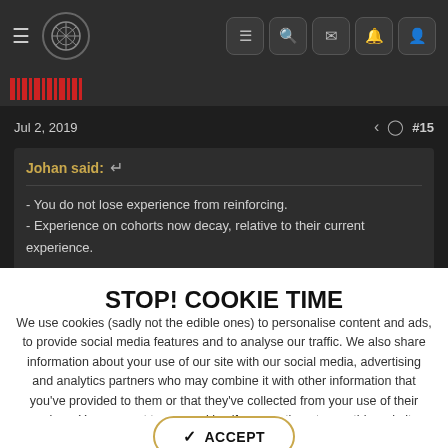Navigation bar with hamburger, logo, list, search, mail, bell, and profile icons
[Figure (infographic): Red barcode/striped graphic on dark background]
Jul 2, 2019  #15
Johan said: ↩
- You do not lose experience from reinforcing.
- Experience on cohorts now decay, relative to their current experience.
STOP! COOKIE TIME
We use cookies (sadly not the edible ones) to personalise content and ads, to provide social media features and to analyse our traffic. We also share information about your use of our site with our social media, advertising and analytics partners who may combine it with other information that you've provided to them or that they've collected from your use of their services. You consent to our cookies if you continue to use this website.
✓ ACCEPT